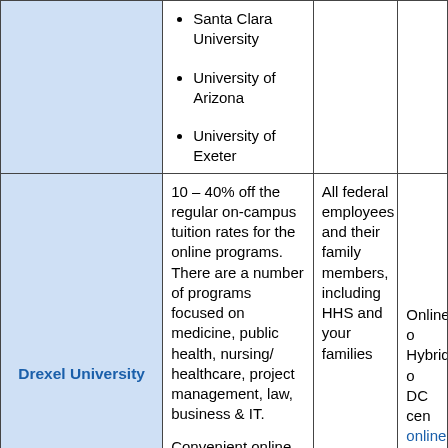| University | Benefits/Description | Eligibility | Format/Link |
| --- | --- | --- | --- |
|  | Santa Clara University
University of Arizona
University of Exeter |  |  |
| Drexel University | 10 – 40% off the regular on-campus tuition rates for the online programs. There are a number of programs focused on medicine, public health, nursing/healthcare, project management, law, business & IT.

Convenient online format; no commuting or career interruption

Top-ranked programs from one | All federal employees and their family members, including HHS and your families | Online o
Hybrid o
DC cen
online.c |